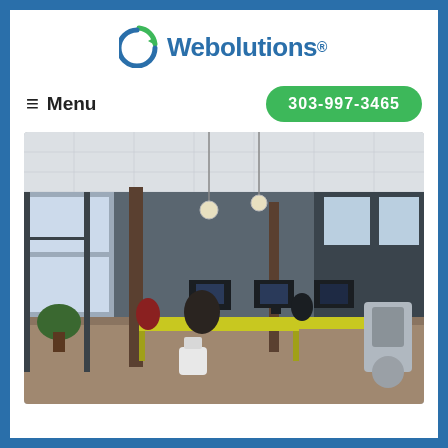[Figure (logo): Webolutions company logo with green/blue circular arrow icon and text 'Webolutions.' in blue]
≡ Menu
303-997-3465
[Figure (photo): Modern open-plan office interior with people working at yellow desks with computers, pendant lights, large windows, plants, and exposed ceiling]